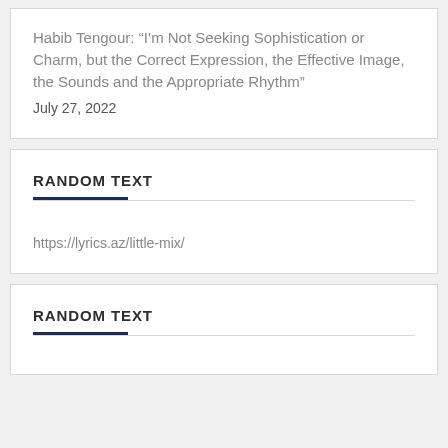Habib Tengour: “I’m Not Seeking Sophistication or Charm, but the Correct Expression, the Effective Image, the Sounds and the Appropriate Rhythm”
July 27, 2022
RANDOM TEXT
https://lyrics.az/little-mix/
RANDOM TEXT